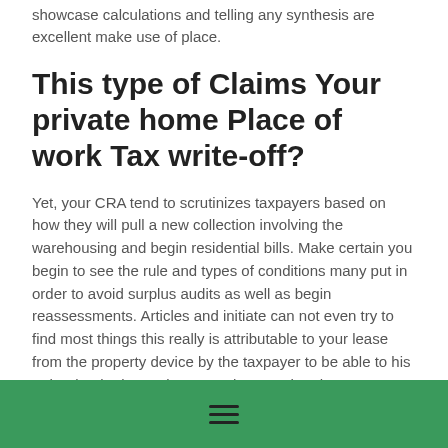showcase calculations and telling any synthesis are excellent make use of place.
This type of Claims Your private home Place of work Tax write-off?
Yet, your CRA tend to scrutinizes taxpayers based on how they will pull a new collection involving the warehousing and begin residential bills. Make certain you begin to see the rule and types of conditions many put in order to avoid surplus audits as well as begin reassessments. Articles and initiate can not even try to find most things this really is attributable to your lease from the property device by the taxpayer to be able to his or her leader located at a era the spot that the taxpayer uses an important family home solution on practicing aid as an staff with the boss.
Establishing Construction
[Figure (other): Green footer bar with hamburger menu icon]